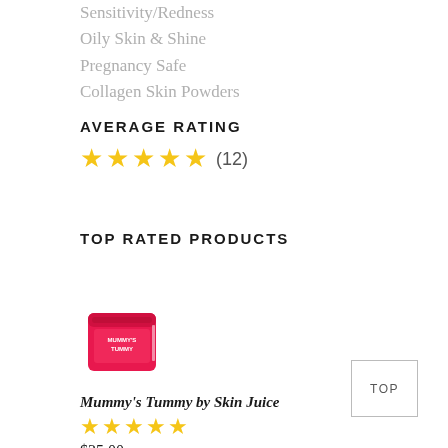Sensitivity/Redness
Oily Skin & Shine
Pregnancy Safe
Collagen Skin Powders
AVERAGE RATING
[Figure (other): Five gold stars with review count (12)]
TOP RATED PRODUCTS
[Figure (photo): Pink jar of Mummy's Tummy by Skin Juice]
Mummy's Tummy by Skin Juice
[Figure (other): Five gold stars product rating]
$35.00